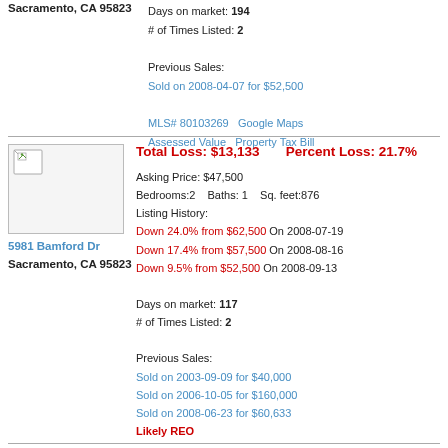Sacramento, CA 95823
Days on market: 194
# of Times Listed: 2

Previous Sales:
Sold on 2008-04-07 for $52,500

MLS# 80103269    Google Maps
Assessed Value    Property Tax Bill
[Figure (photo): Property photo placeholder with broken image icon]
Total Loss: $13,133      Percent Loss: 21.7%
Asking Price: $47,500
Bedrooms:2   Baths: 1   Sq. feet:876
Listing History:
Down 24.0% from $62,500 On 2008-07-19
Down 17.4% from $57,500 On 2008-08-16
Down 9.5% from $52,500 On 2008-09-13
Days on market: 117
# of Times Listed: 2

Previous Sales:
Sold on 2003-09-09 for $40,000
Sold on 2006-10-05 for $160,000
Sold on 2008-06-23 for $60,633
Likely REO

MLS# 80069896    Google Maps
Assessed Value    Property Tax Bill
5981 Bamford Dr
Sacramento, CA 95823